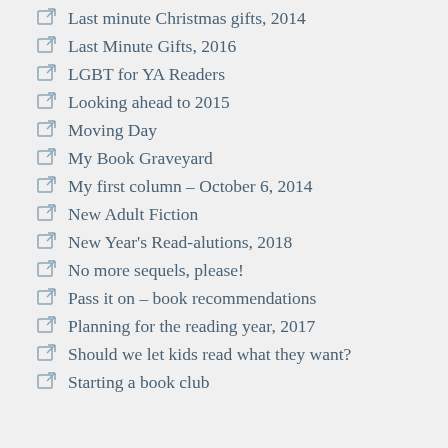Last minute Christmas gifts, 2014
Last Minute Gifts, 2016
LGBT for YA Readers
Looking ahead to 2015
Moving Day
My Book Graveyard
My first column – October 6, 2014
New Adult Fiction
New Year's Read-alutions, 2018
No more sequels, please!
Pass it on – book recommendations
Planning for the reading year, 2017
Should we let kids read what they want?
Starting a book club